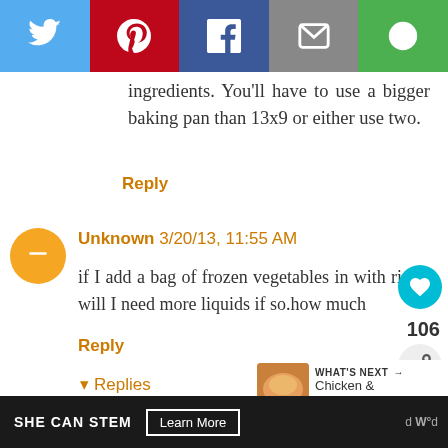[Figure (infographic): Social sharing toolbar with Twitter (blue), Pinterest (red), Facebook (dark blue), Email (gray), and Share (green) buttons]
ingredients. You'll have to use a bigger baking pan than 13x9 or either use two.
Reply
Unknown 3/20/13, 11:55 AM
if I add a bag of frozen vegetables in with rice will I need more liquids if so.how much
Reply
Replies
[Figure (photo): Thumbnail image of Chicken and Rice dish]
WHAT'S NEXT → Chicken & Rice...
Mandy Rivers 3/20/13, 1:18 PM
SHE CAN STEM Learn More